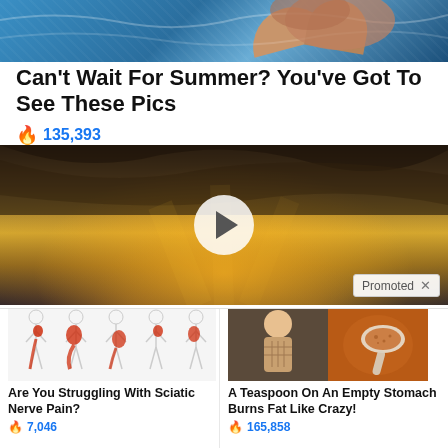[Figure (photo): Top portion of swimming photo showing water and a person's arm/body swimming]
Can't Wait For Summer? You've Got To See These Pics
🔥 135,393
[Figure (screenshot): Video thumbnail showing dramatic sunset sky with golden rays, play button in center, and 'Promoted X' badge in bottom right]
[Figure (photo): Medical illustration of sciatic nerve pain showing body outlines with red pain areas highlighted]
Are You Struggling With Sciatic Nerve Pain?
🔥 7,046
[Figure (photo): Collage of fit person with abs and a spoon with brown powder/spice]
A Teaspoon On An Empty Stomach Burns Fat Like Crazy!
🔥 165,858